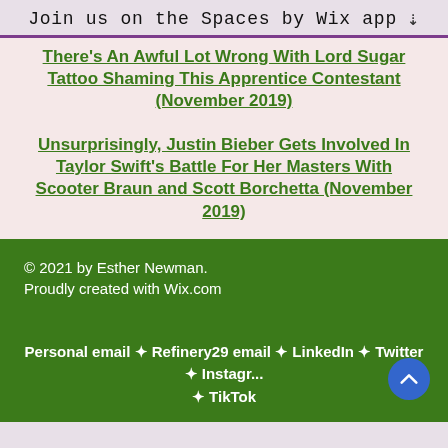Join us on the Spaces by Wix app ↓
There's An Awful Lot Wrong With Lord Sugar Tattoo Shaming This Apprentice Contestant (November 2019)
Unsurprisingly, Justin Bieber Gets Involved In Taylor Swift's Battle For Her Masters With Scooter Braun and Scott Borchetta (November 2019)
© 2021 by Esther Newman. Proudly created with Wix.com
Personal email ✦ Refinery29 email ✦ LinkedIn ✦ Twitter ✦ Instagram ✦ TikTok